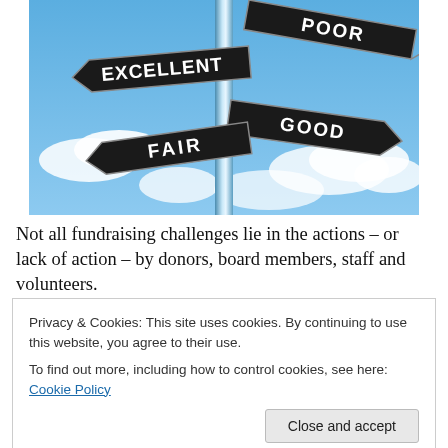[Figure (photo): A street signpost with four directional signs against a blue sky with clouds. Signs read EXCELLENT (pointing left), POOR (pointing upper right), GOOD (pointing right), and FAIR (pointing lower left).]
Not all fundraising challenges lie in the actions – or lack of action – by donors, board members, staff and volunteers.
Privacy & Cookies: This site uses cookies. By continuing to use this website, you agree to their use.
To find out more, including how to control cookies, see here: Cookie Policy
fundraiso. Will and willingness are related, but not the